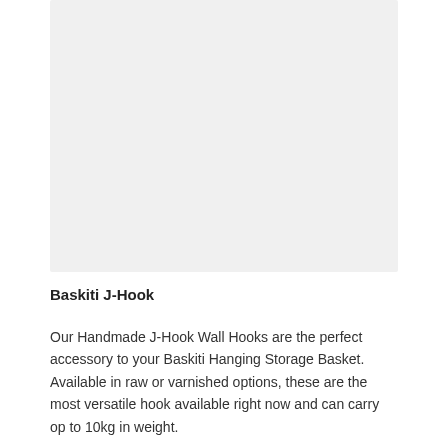[Figure (photo): Light gray placeholder rectangle representing a product image area]
Baskiti J-Hook
Our Handmade J-Hook Wall Hooks are the perfect accessory to your Baskiti Hanging Storage Basket. Available in raw or varnished options, these are the most versatile hook available right now and can carry op to 10kg in weight.